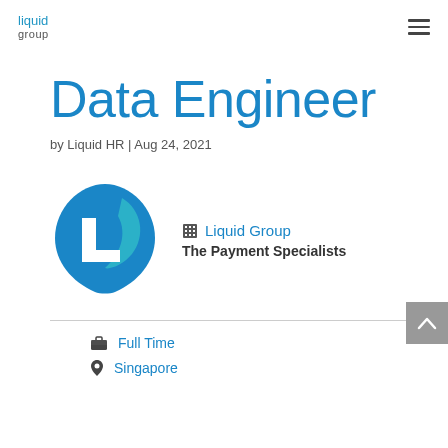liquid group
Data Engineer
by Liquid HR | Aug 24, 2021
[Figure (logo): Liquid Group company logo — blue teardrop/shield shape with white 'L' letterform]
Liquid Group
The Payment Specialists
Full Time
Singapore